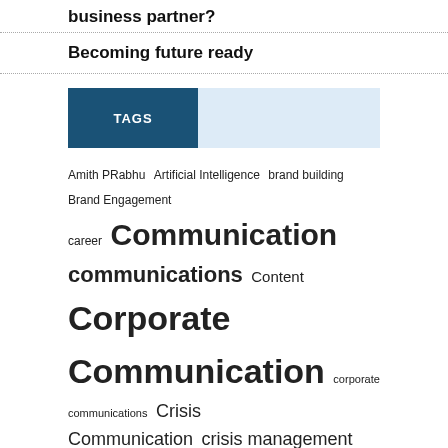business partner?
Becoming future ready
TAGS
Amith PRabhu Artificial Intelligence brand building Brand Engagement career Communication communications Content Corporate Communication corporate communications Crisis Communication crisis management CSR digital Employee Engagement Engaging Strokes fake news Fulcrum Awards Genesis Burson-Marsteller influencers innovation Marketing Media Media relations Narendra Modi Political Communication political communications politics PR PRAXIS PRAXIS 2016 Praxis 2017 press release PR Strategy Public